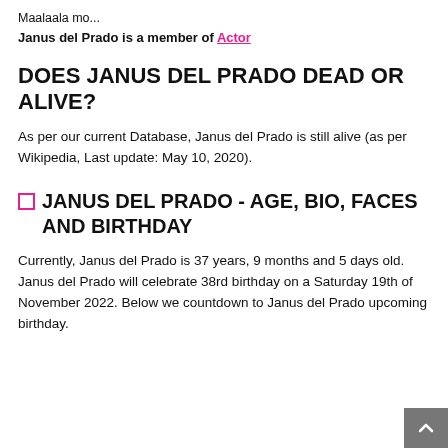Maalaala mo...
Janus del Prado is a member of Actor
DOES JANUS DEL PRADO DEAD OR ALIVE?
As per our current Database, Janus del Prado is still alive (as per Wikipedia, Last update: May 10, 2020).
🗆 JANUS DEL PRADO - AGE, BIO, FACES AND BIRTHDAY
Currently, Janus del Prado is 37 years, 9 months and 5 days old. Janus del Prado will celebrate 38rd birthday on a Saturday 19th of November 2022. Below we countdown to Janus del Prado upcoming birthday.